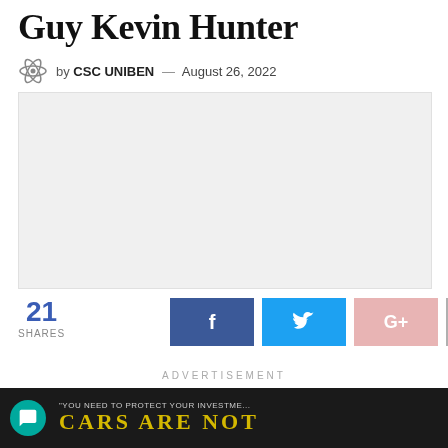Guy Kevin Hunter
by CSC UNIBEN — August 26, 2022
[Figure (photo): Light gray placeholder image area]
21 SHARES
[Figure (infographic): Social share buttons: Facebook, Twitter, Google+, Share]
ADVERTISEMENT
[Figure (screenshot): Advertisement banner with text: YOU NEED TO PROTECT YOUR INVESTME... CARS ARE NOT in yellow letters on dark background]